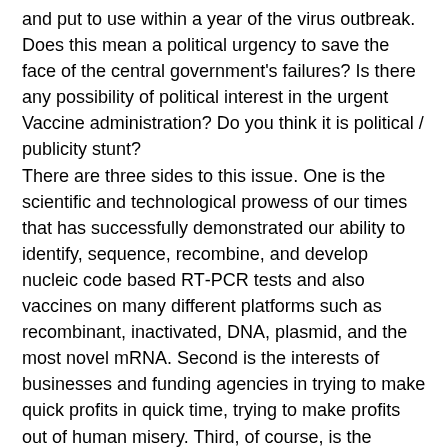and put to use within a year of the virus outbreak. Does this mean a political urgency to save the face of the central government's failures? Is there any possibility of political interest in the urgent Vaccine administration? Do you think it is political / publicity stunt?
There are three sides to this issue. One is the scientific and technological prowess of our times that has successfully demonstrated our ability to identify, sequence, recombine, and develop nucleic code based RT-PCR tests and also vaccines on many different platforms such as recombinant, inactivated, DNA, plasmid, and the most novel mRNA. Second is the interests of businesses and funding agencies in trying to make quick profits in quick time, trying to make profits out of human misery. Third, of course, is the political showmanship, trying to gain personal and/or political mileage out of the scientific feats and business deals.
It has been very clear from the very beginning, in every decision that was made with regard to this new pandemic, in most countries including India and the US, that political leaders took their own decisions and disregarded scientists and experts.